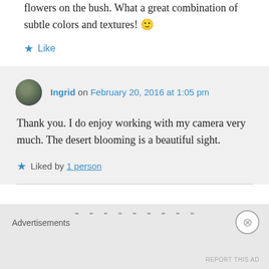flowers on the bush. What a great combination of subtle colors and textures! 🙂
★ Like
Ingrid on February 20, 2016 at 1:05 pm
Thank you. I do enjoy working with my camera very much. The desert blooming is a beautiful sight.
★ Liked by 1 person
Advertisements